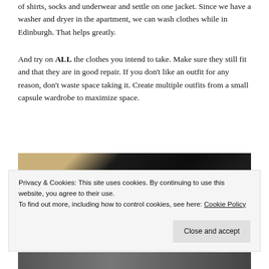of shirts, socks and underwear and settle on one jacket. Since we have a washer and dryer in the apartment, we can wash clothes while in Edinburgh. That helps greatly.
And try on ALL the clothes you intend to take. Make sure they still fit and that they are in good repair. If you don't like an outfit for any reason, don't waste space taking it. Create multiple outfits from a small capsule wardrobe to maximize space.
[Figure (photo): A dark photograph showing what appears to be a jacket and luggage, mostly dark tones with a tan/beige fabric visible on the left side.]
Privacy & Cookies: This site uses cookies. By continuing to use this website, you agree to their use.
To find out more, including how to control cookies, see here: Cookie Policy
Close and accept